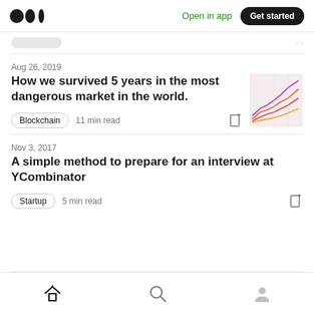Medium logo | Open in app | Get started
Aug 26, 2019
How we survived 5 years in the most dangerous market in the world.
Blockchain  11 min read
[Figure (line-chart): Thumbnail showing multiple colored line chart trends (purple, orange, red, yellow lines) going upward over time]
Nov 3, 2017
A simple method to prepare for an interview at YCombinator
Startup  5 min read
Home | Search | Profile